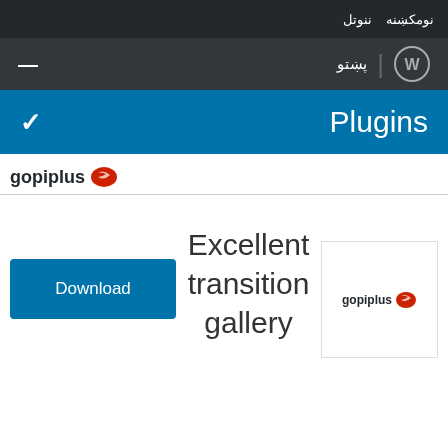نومکښنه ننوتل
پښتو | WordPress
Plugins
gopiplus
Download
Excellent transition gallery
[Figure (logo): gopiplus logo in a white bordered box]